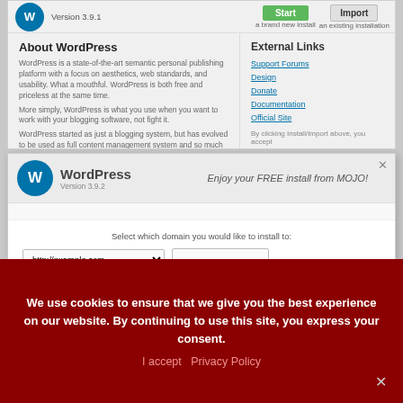[Figure (screenshot): WordPress installation screen top bar with logo, Version 3.9.1, Start and Import buttons]
About WordPress
WordPress is a state-of-the-art semantic personal publishing platform with a focus on aesthetics, web standards, and usability. What a mouthful. WordPress is both free and priceless at the same time.
More simply, WordPress is what you use when you want to work with your blogging software, not fight it.
WordPress started as just a blogging system, but has evolved to be used as full content management system and so much more
External Links
Support Forums
Design
Donate
Documentation
Official Site
By clicking Install/Import above, you accept
[Figure (screenshot): WordPress installation popup with logo, Version 3.9.2, Enjoy your FREE install from MOJO! domain selection form with http://example.com dropdown, text input, and Check Domain button]
Install Processes
We use cookies to ensure that we give you the best experience on our website. By continuing to use this site, you express your consent.
I accept  Privacy Policy